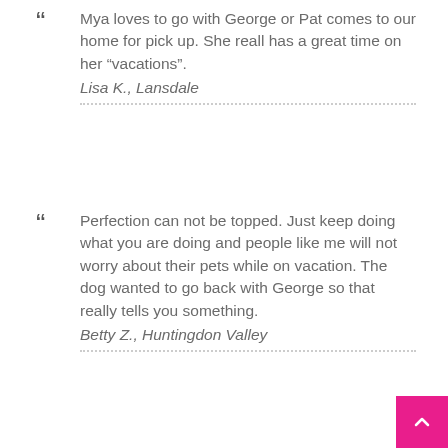Mya loves to go with George or Pat comes to our home for pick up. She reall has a great time on her "vacations". Lisa K., Lansdale
Perfection can not be topped. Just keep doing what you are doing and people like me will not worry about their pets while on vacation. The dog wanted to go back with George so that really tells you something. Betty Z., Huntingdon Valley